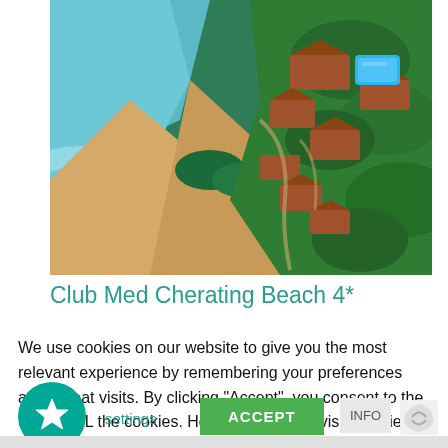[Figure (photo): Aerial view of Club Med Cherating Beach resort showing terracotta-roofed buildings surrounded by tropical forest, a sandy beach, turquoise sea, and a pool area.]
Club Med Cherating Beach 4*
A natural adventure everyone will enjoy Return to
We use cookies on our website to give you the most relevant experience by remembering your preferences and repeat visits. By clicking "Accept", you consent to the use of ALL the cookies. However you may visit Cookie Settings to provide a controlled consent.
settings  ACCEPT  INFO